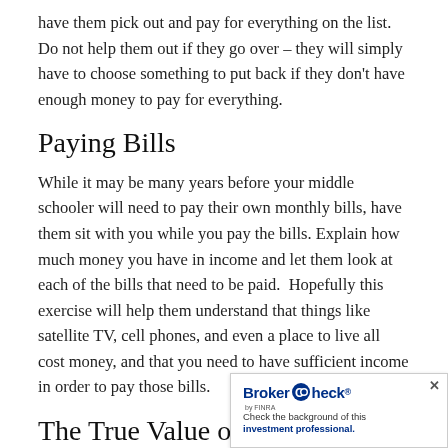have them pick out and pay for everything on the list. Do not help them out if they go over – they will simply have to choose something to put back if they don't have enough money to pay for everything.
Paying Bills
While it may be many years before your middle schooler will need to pay their own monthly bills, have them sit with you while you pay the bills. Explain how much money you have in income and let them look at each of the bills that need to be paid.  Hopefully this exercise will help them understand that things like satellite TV, cell phones, and even a place to live all cost money, and that you need to have sufficient income in order to pay those bills.
The True Value of Money
While we all want to protect our kids, sometim… them make unwise purchases will explain to t…
[Figure (other): BrokerCheck advertisement widget with logo, FINRA attribution, and text 'Check the background of this investment professional.' with a close button.]